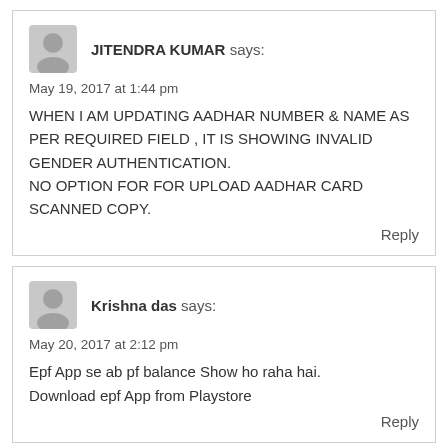JITENDRA KUMAR says:
May 19, 2017 at 1:44 pm
WHEN I AM UPDATING AADHAR NUMBER & NAME AS PER REQUIRED FIELD , IT IS SHOWING INVALID GENDER AUTHENTICATION.
NO OPTION FOR FOR UPLOAD AADHAR CARD SCANNED COPY.
Reply
Krishna das says:
May 20, 2017 at 2:12 pm
Epf App se ab pf balance Show ho raha hai.
Download epf App from Playstore
Reply